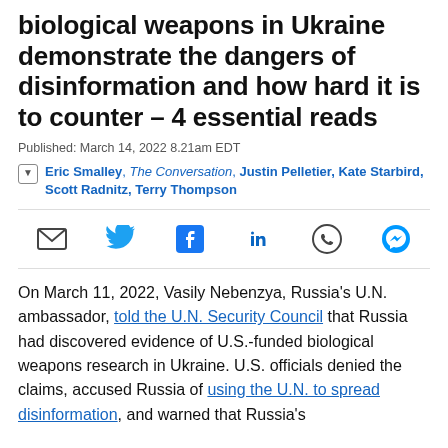biological weapons in Ukraine demonstrate the dangers of disinformation and how hard it is to counter – 4 essential reads
Published: March 14, 2022 8.21am EDT
Eric Smalley, The Conversation, Justin Pelletier, Kate Starbird, Scott Radnitz, Terry Thompson
[Figure (other): Social share icons: email, Twitter, Facebook, LinkedIn, WhatsApp, Messenger]
On March 11, 2022, Vasily Nebenzya, Russia's U.N. ambassador, told the U.N. Security Council that Russia had discovered evidence of U.S.-funded biological weapons research in Ukraine. U.S. officials denied the claims, accused Russia of using the U.N. to spread disinformation, and warned that Russia's